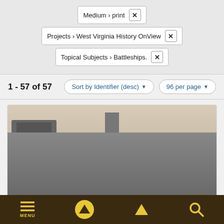Medium > print ×
Projects > West Virginia History OnView ×
Topical Subjects > Battleships. ×
1 - 57 of 57
Sort by Identifier (desc) ▾
96 per page ▾
[Figure (photo): Sepia-toned historical photograph of a battleship in a shipyard or dry dock, showing the ship's superstructure, towers, funnel, and a crane to the right.]
MENU [up arrow] [filter] [search]